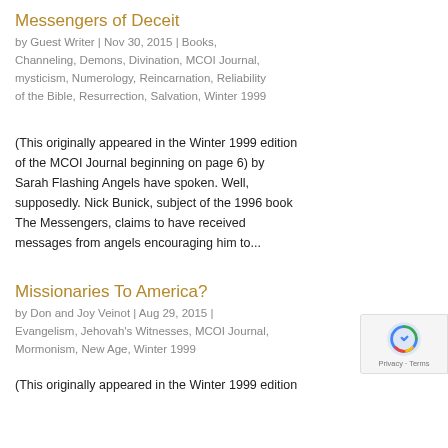Messengers of Deceit
by Guest Writer | Nov 30, 2015 | Books, Channeling, Demons, Divination, MCOI Journal, mysticism, Numerology, Reincarnation, Reliability of the Bible, Resurrection, Salvation, Winter 1999
(This originally appeared in the Winter 1999 edition of the MCOI Journal beginning on page 6) by Sarah Flashing Angels have spoken. Well, supposedly. Nick Bunick, subject of the 1996 book The Messengers, claims to have received messages from angels encouraging him to...
Missionaries To America?
by Don and Joy Veinot | Aug 29, 2015 | Evangelism, Jehovah's Witnesses, MCOI Journal, Mormonism, New Age, Winter 1999
(This originally appeared in the Winter 1999 edition